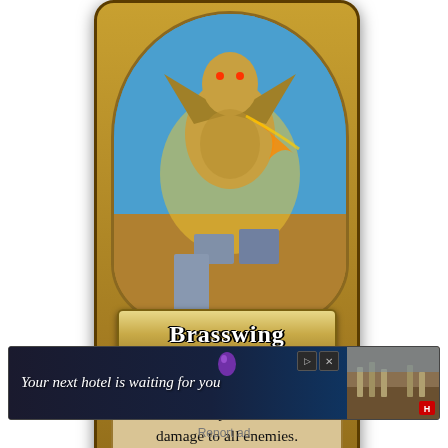[Figure (illustration): Hearthstone card named Brasswing — a golden dragon card with attack value 9 and health value 7. Card text reads: At the end of your turn, deal 2 damage to all enemies. Honorable Kill: Restore 4 Health to your hero. Type: Dragon.]
Rating: 3.8/5. From 208 votes
[Figure (screenshot): Advertisement banner reading 'Your next hotel is waiting for you' with a photo of ancient ruins and a Hilton Hotels logo.]
Report ad